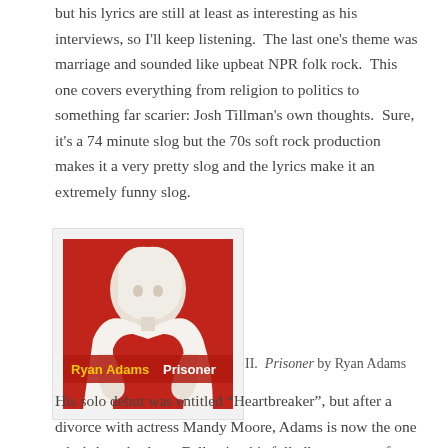but his lyrics are still at least as interesting as his interviews, so I'll keep listening.  The last one's theme was marriage and sounded like upbeat NPR folk rock.  This one covers everything from religion to politics to something far scarier: Josh Tillman's own thoughts.  Sure, it's a 74 minute slog but the 70s soft rock production makes it a very pretty slog and the lyrics make it an extremely funny slog.
[Figure (illustration): Album cover for 'Prisoner' by Ryan Adams showing a stylized painted figure in red and white with the text 'Ryan Adams Prisoner' displayed in yellow and white lettering]
II.  Prisoner by Ryan Adams
His solo debut was entitled “Heartbreaker”, but after a divorce with actress Mandy Moore, Adams is now the one who's heartbroken.  Following his full album cover of Taylor